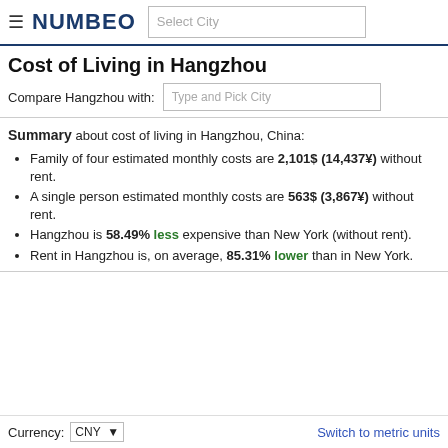≡ NUMBEO | Select City
Cost of Living in Hangzhou
Compare Hangzhou with: Type and Pick City
Summary about cost of living in Hangzhou, China:
Family of four estimated monthly costs are 2,101$ (14,437¥) without rent.
A single person estimated monthly costs are 563$ (3,867¥) without rent.
Hangzhou is 58.49% less expensive than New York (without rent).
Rent in Hangzhou is, on average, 85.31% lower than in New York.
Currency: CNY ▾   Switch to metric units